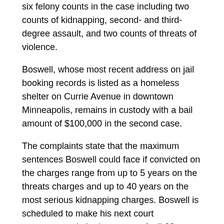six felony counts in the case including two counts of kidnapping, second- and third-degree assault, and two counts of threats of violence.
Boswell, whose most recent address on jail booking records is listed as a homeless shelter on Currie Avenue in downtown Minneapolis, remains in custody with a bail amount of $100,000 in the second case.
The complaints state that the maximum sentences Boswell could face if convicted on the charges range from up to 5 years on the threats charges and up to 40 years on the most serious kidnapping charges. Boswell is scheduled to make his next court appearances in both cases on April 28.
Sponsor this content. You can help ensure that Alpha News can continue to publish important public safety news and information. Email: contactus@alphanewsmn.com.